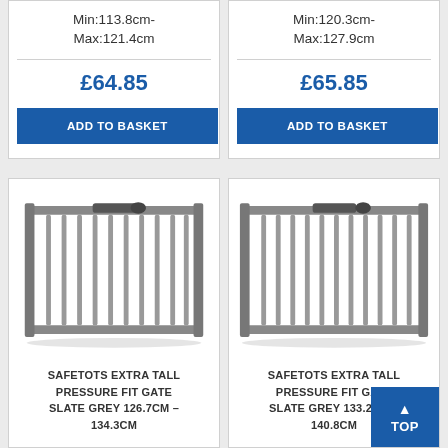Min:113.8cm-
Max:121.4cm
£64.85
ADD TO BASKET
Min:120.3cm-
Max:127.9cm
£65.85
ADD TO BASKET
[Figure (photo): Safetots Extra Tall Pressure Fit Gate Slate Grey 126.7cm-134.3cm metal baby gate product image]
SAFETOTS EXTRA TALL PRESSURE FIT GATE SLATE GREY 126.7CM – 134.3CM
[Figure (photo): Safetots Extra Tall Pressure Fit Gate Slate Grey 133.2cm-140.8cm metal baby gate product image]
SAFETOTS EXTRA TALL PRESSURE FIT GATE SLATE GREY 133.2CM – 140.8CM